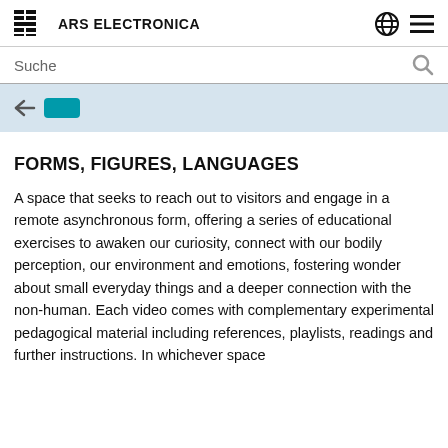ARS ELECTRONICA
[Figure (screenshot): Navigation bar with globe icon and hamburger menu icon on the right]
[Figure (screenshot): Search bar with 'Suche' placeholder text and search icon]
[Figure (screenshot): Light blue banner strip with partially visible navigation elements including a teal button]
FORMS, FIGURES, LANGUAGES
A space that seeks to reach out to visitors and engage in a remote asynchronous form, offering a series of educational exercises to awaken our curiosity, connect with our bodily perception, our environment and emotions, fostering wonder about small everyday things and a deeper connection with the non-human. Each video comes with complementary experimental pedagogical material including references, playlists, readings and further instructions. In whichever space